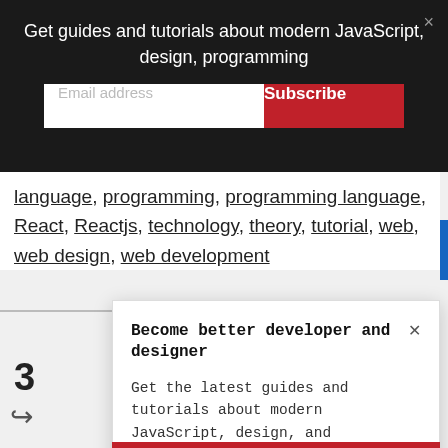[Figure (screenshot): Black banner with newsletter signup: 'Get guides and tutorials about modern JavaScript, design, programming' with email input and red Subscribe button, and an X close button]
language, programming, programming language, React, Reactjs, technology, theory, tutorial, web, web design, web development
Become better developer and designer ×
Get the latest guides and tutorials about modern JavaScript, design, and programming.
Email address